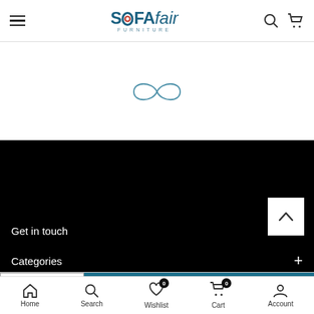SOFAfair FURNITURE — navigation header with hamburger menu, logo, search and cart icons
[Figure (other): Loading spinner / infinity symbol in teal/blue outline on white background]
Get in touch
Categories
ADD TO CART
Home | Search | Wishlist (0) | Cart (0) | Account